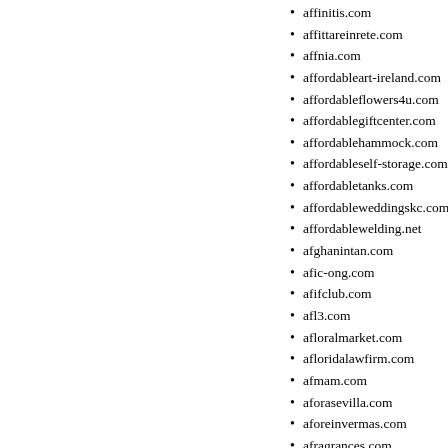affinitis.com
affittareinrete.com
affnia.com
affordableart-ireland.com
affordableflowers4u.com
affordablegiftcenter.com
affordablehammock.com
affordableself-storage.com
affordabletanks.com
affordableweddingskc.com
affordablewelding.net
afghanintan.com
afic-ong.com
afifclub.com
afl3.com
afloralmarket.com
afloridalawfirm.com
afmam.com
aforasevilla.com
aforeinvermas.com
afragrances.com
afriaart.com
africa2010worldcup.com
africaforum2006.com
africaimports4u.com
africalaunch.com
africanactivities.com
africanamericancollegeschol